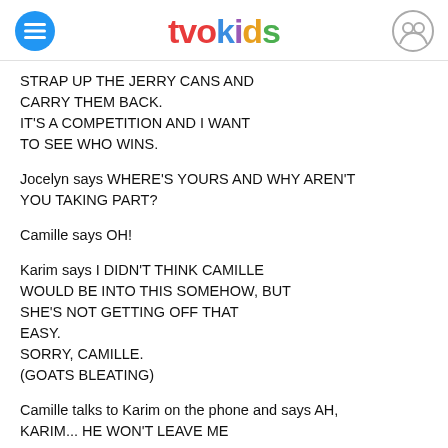tvokids
STRAP UP THE JERRY CANS AND CARRY THEM BACK.
IT'S A COMPETITION AND I WANT TO SEE WHO WINS.
Jocelyn says WHERE'S YOURS AND WHY AREN'T YOU TAKING PART?
Camille says OH!
Karim says I DIDN'T THINK CAMILLE WOULD BE INTO THIS SOMEHOW, BUT SHE'S NOT GETTING OFF THAT EASY.
SORRY, CAMILLE.
(GOATS BLEATING)
Camille talks to Karim on the phone and says AH, KARIM... HE WON'T LEAVE ME